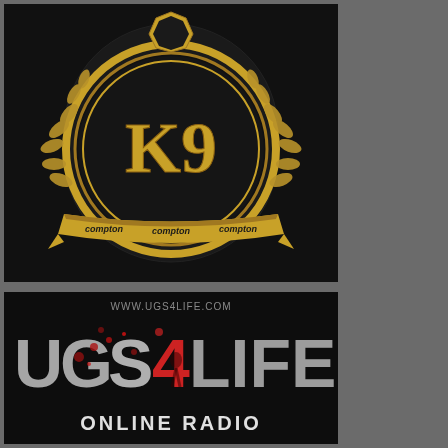[Figure (logo): K9 Compton logo: a circular gold medallion badge with 'K9' in gold letters on a black diamond-pattern background, surrounded by a gold laurel wreath, with a shield at the top and a banner ribbon at the bottom reading 'compton compton compton' in gold text, all on a dark black background.]
[Figure (logo): UGS4LIFE Online Radio logo: dark black background with large distressed/grunge-style text 'UGS4LIFE' in white/grey with red blood splatter effect and a silhouette figure, URL 'WWW.UGS4LIFE.COM' at top in grey text, and 'ONLINE RADIO' in white letters at the bottom.]